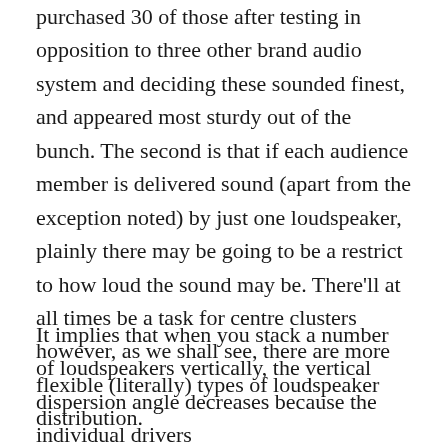purchased 30 of those after testing in opposition to three other brand audio system and deciding these sounded finest, and appeared most sturdy out of the bunch. The second is that if each audience member is delivered sound (apart from the exception noted) by just one loudspeaker, plainly there may be going to be a restrict to how loud the sound may be. There'll at all times be a task for centre clusters however, as we shall see, there are more flexible (literally) types of loudspeaker distribution.
It implies that when you stack a number of loudspeakers vertically, the vertical dispersion angle decreases because the individual drivers